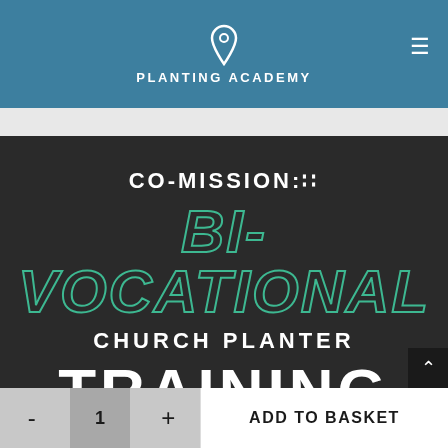PLANTING ACADEMY
[Figure (screenshot): Dark promotional banner for Co-Mission Bi-Vocational Church Planter Training course. Shows 'CO-MISSION:' in white bold text, 'BI-VOCATIONAL' in large teal outlined italic font, 'CHURCH PLANTER' in white bold text, and 'TRAINING' in large white bold text, all on a dark charcoal background.]
ADD TO BASKET